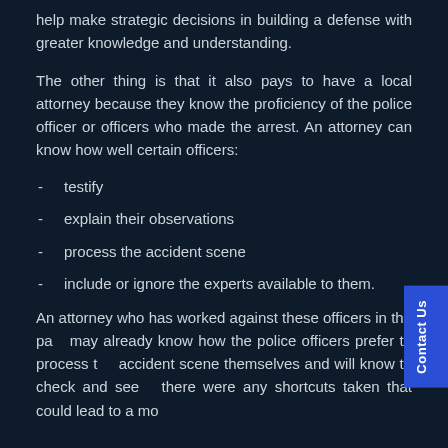help make strategic decisions in building a defense with greater knowledge and understanding.
The other thing is that it also pays to have a local attorney because they know the proficiency of the police officer or officers who made the arrest. An attorney can know how well certain officers:
testify
explain their observations
process the accident scene
include or ignore the experts available to them.
An attorney who has worked against these officers in the past may already know how the police officers prefer to process the accident scene themselves and will know to check and see if there were any shortcuts taken that could lead to a more favorable outcome and a more substantial settlement.